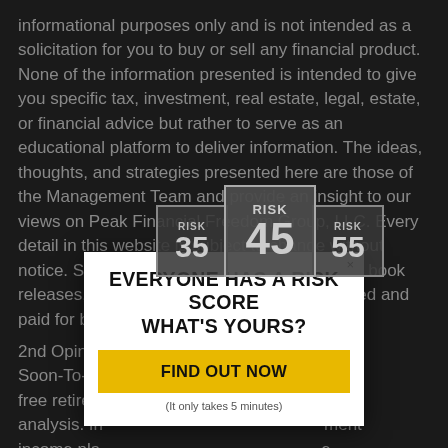informational purposes only and is not intended as a solicitation for you to buy or sell any financial product. None of the information presented is intended to give you specific tax, investment, real estate, legal, estate, or financial advice but rather to serve as an educational platform to deliver information. The ideas, thoughts, and strategies presented here are those of the Management Team and provide an insight to our views on Peak Financial Freedom Group, LLC. Every detail in this website is subject to change without notice. Seminar, radio shows, TV productions, book releases, magazine and book promotions a... oted and paid for by Peak Financial F...
[Figure (infographic): Risk score badges showing three overlapping squares labeled RISK 35, RISK 45 (largest/center), and RISK 55]
[Figure (infographic): Modal popup overlay with white background. Title: EVERYONE HAS A RISK SCORE WHAT'S YOURS? Yellow button: FIND OUT NOW. Subtitle: (It only takes 5 minutes)]
2nd Opinion... and Soon-To-Be... s, a free retirem... analysis. In... ment income pla... e